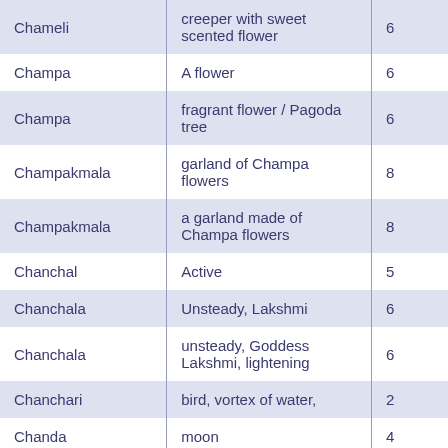| Chameli | creeper with sweet scented flower | 6 |
| Champa | A flower | 6 |
| Champa | fragrant flower / Pagoda tree | 6 |
| Champakmala | garland of Champa flowers | 8 |
| Champakmala | a garland made of Champa flowers | 8 |
| Chanchal | Active | 5 |
| Chanchala | Unsteady, Lakshmi | 6 |
| Chanchala | unsteady, Goddess Lakshmi, lightening | 6 |
| Chanchari | bird, vortex of water, | 2 |
| Chanda | moon | 4 |
| Chandan | Sandlewood | 9 |
| Chandana | Sandlewood | 1 |